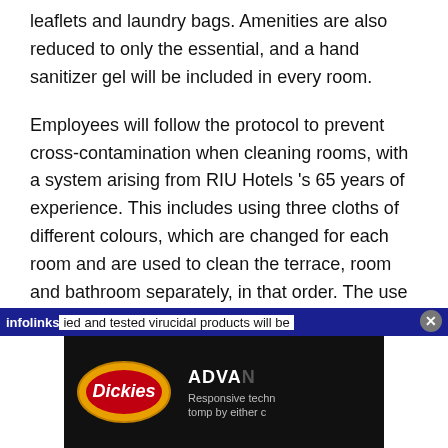leaflets and laundry bags. Amenities are also reduced to only the essential, and a hand sanitizer gel will be included in every room.
Employees will follow the protocol to prevent cross-contamination when cleaning rooms, with a system arising from RIU Hotels 's 65 years of experience. This includes using three cloths of different colours, which are changed for each room and are used to clean the terrace, room and bathroom separately, in that order. The use ied and tested virucidal products will be
[Figure (other): Infolinks advertisement bar overlay with Dickies brand banner ad showing 'ADVA Responsive techn tomp by either c']